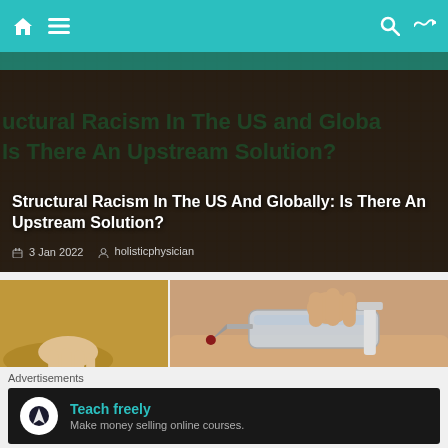Navigation bar with home, menu, search, shuffle icons
Structural Racism In The US And Globally: Is There An Upstream Solution?
3 Jan 2022  holisticphysician
[Figure (photo): Person's hand with pills/seeds spilled on a surface]
[Figure (photo): Close-up of a syringe needle inserted into skin]
[Figure (photo): Hands reaching up against blue sky with clouds]
The Dreams That Ne
Advertisements
[Figure (infographic): Advertisement banner: Teach freely - Make money selling online courses]